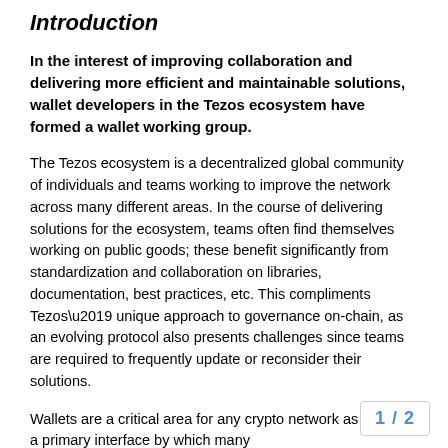Introduction
In the interest of improving collaboration and delivering more efficient and maintainable solutions, wallet developers in the Tezos ecosystem have formed a wallet working group.
The Tezos ecosystem is a decentralized global community of individuals and teams working to improve the network across many different areas. In the course of delivering solutions for the ecosystem, teams often find themselves working on public goods; these benefit significantly from standardization and collaboration on libraries, documentation, best practices, etc. This compliments Tezos’ unique approach to governance on-chain, as an evolving protocol also presents challenges since teams are required to frequently update or reconsider their solutions.
Wallets are a critical area for any crypto network as they are a primary interface by which many... with the blockchain. Developers will a...
1 / 2